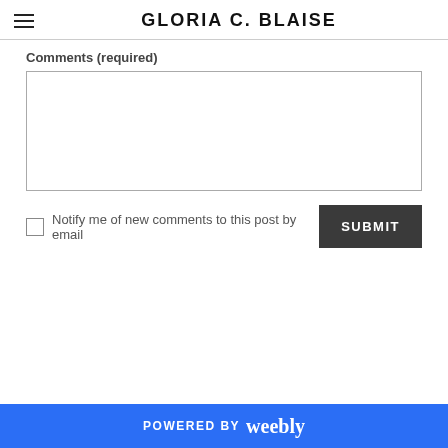GLORIA C. BLAISE
Comments (required)
Notify me of new comments to this post by email
POWERED BY weebly